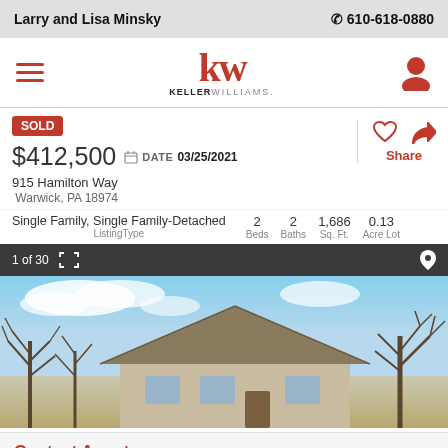Larry and Lisa Minsky | 610-618-0880
[Figure (logo): Keller Williams KW logo with hamburger menu and user icon]
SOLD
$412,500  DATE 03/25/2021
915 Hamilton Way
Warwick, PA 18974
Single Family, Single Family-Detached  2 Beds  2 Baths  1,686 Sq. Ft.  0.13 Acre Lot
[Figure (photo): Exterior photo of a single-family detached home at 915 Hamilton Way, Warwick PA. Shows roof, front of house, bare trees, blue sky with clouds. Image counter shows 1 of 30.]
Contact Agent